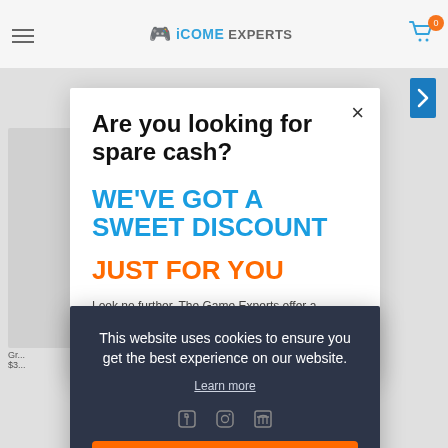[Figure (screenshot): Website background showing navigation bar with Game Experts logo, hamburger menu, and cart icon with badge. Blue banner and product listing below.]
Are you looking for spare cash?
WE'VE GOT A SWEET DISCOUNT
JUST FOR YOU
Look no further. The Game Experts offer a TRADE & SAVE
Click here to find out more
This website uses cookies to ensure you get the best experience on our website.
Learn more
Got it!